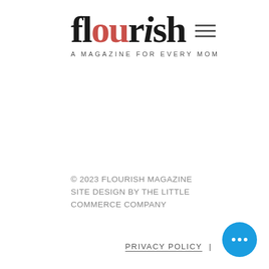flourish — A MAGAZINE FOR EVERY MOM
© 2023 FLOURISH MAGAZINE SITE DESIGN BY THE LITTLE COMMERCE COMPANY
PRIVACY POLICY  |
[Figure (other): Blue circular chat bubble button with three white dots]